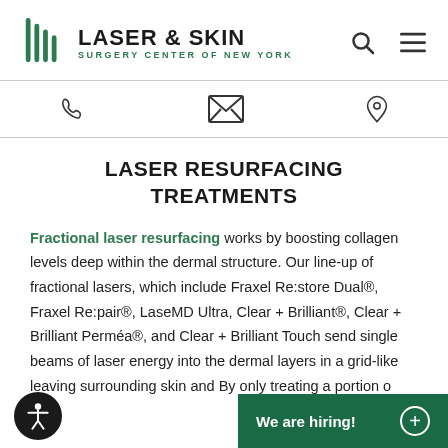[Figure (logo): Laser & Skin Surgery Center of New York logo with green vertical line icon]
Laser & Skin Surgery Center of New York
LASER RESURFACING TREATMENTS
Fractional laser resurfacing works by boosting collagen levels deep within the dermal structure. Our line-up of fractional lasers, which include Fraxel Re:store Dual®, Fraxel Re:pair®, LaseMD Ultra, Clear + Brilliant®, Clear + Brilliant Perméa®, and Clear + Brilliant Touch send single beams of laser energy into the dermal layers in a grid-like leaving surrounding skin and By only treating a portion of